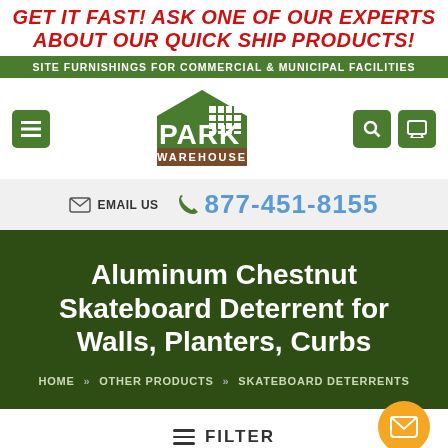GET IT FAST! ASK ONE OF OUR EXPERTS ABOUT OUR QUICK SHIP PRODUCTS!
SITE FURNISHINGS FOR COMMERCIAL & MUNICIPAL FACILITIES
[Figure (logo): Park Warehouse logo with house/building graphic]
EMAIL US  877-451-8155
Aluminum Chestnut Skateboard Deterrent for Walls, Planters, Curbs
HOME » OTHER PRODUCTS » SKATEBOARD DETERRENTS
≡ FILTER